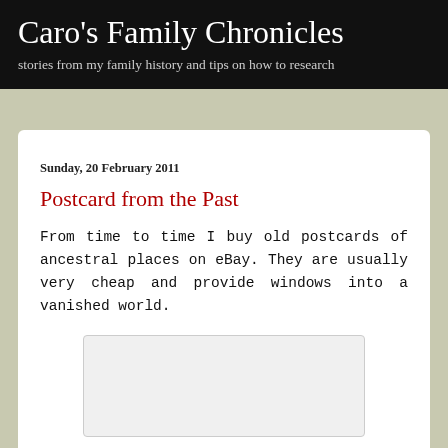Caro's Family Chronicles
stories from my family history and tips on how to research
Sunday, 20 February 2011
Postcard from the Past
From time to time I buy old postcards of ancestral places on eBay. They are usually very cheap and provide windows into a vanished world.
[Figure (photo): Blank postcard image placeholder]